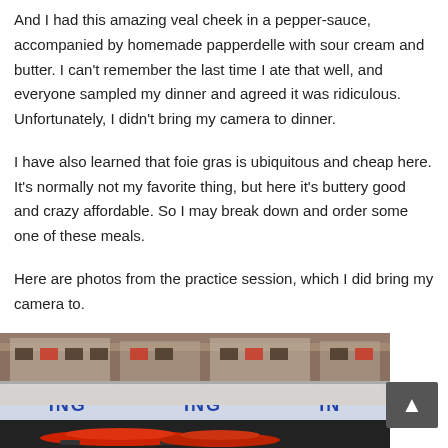And I had this amazing veal cheek in a pepper-sauce, accompanied by homemade papperdelle with sour cream and butter. I can't remember the last time I ate that well, and everyone sampled my dinner and agreed it was ridiculous. Unfortunately, I didn't bring my camera to dinner.
I have also learned that foie gras is ubiquitous and cheap here. It's normally not my favorite thing, but here it's buttery good and crazy affordable. So I may break down and order some one of these meals.
Here are photos from the practice session, which I did bring my camera to.
[Figure (photo): Photo of a racing practice session pit lane area showing cars and ING-branded barriers, with race cars visible in the foreground.]